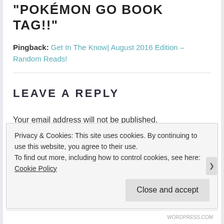"POKEMON GO BOOK TAG!!"
Pingback: Get In The Know| August 2016 Edition – Random Reads!
LEAVE A REPLY
Your email address will not be published. Required fields are marked *
Privacy & Cookies: This site uses cookies. By continuing to use this website, you agree to their use. To find out more, including how to control cookies, see here: Cookie Policy
Close and accept